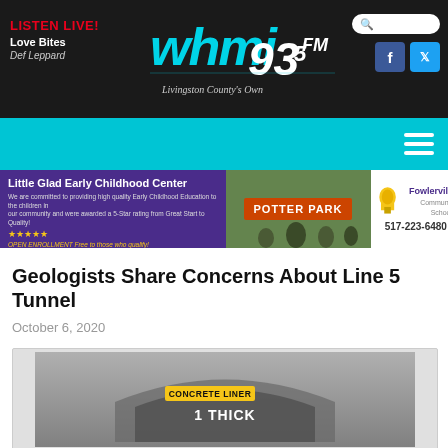LISTEN LIVE! Love Bites Def Leppard — WHMI 93.5FM Livingston County's Own
[Figure (logo): WHMI 93.5FM radio station logo with cursive text and tagline 'Livingston County's Own']
[Figure (screenshot): Advertisement for Little Glad Early Childhood Center and Fowlerville Community Schools (517-223-6480) with Potter Park photo]
Geologists Share Concerns About Line 5 Tunnel
October 6, 2020
[Figure (engineering-diagram): Engineering diagram showing 'CONCRETE LINER' label with '1 THICK' text, part of a tunnel cross-section illustration]